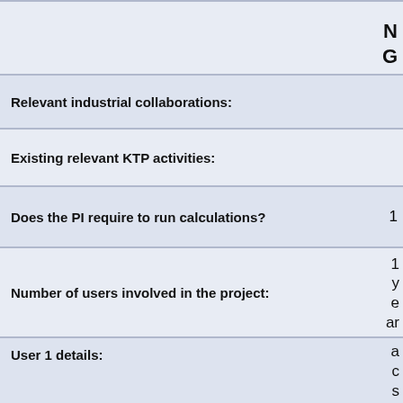| Field | Value |
| --- | --- |
|  | N G |
| Relevant industrial collaborations: |  |
| Existing relevant KTP activities: |  |
| Does the PI require to run calculations? | 1 |
| Number of users involved in the project: | 1 year |
| User 1 details: | access 0 3 1 1 |